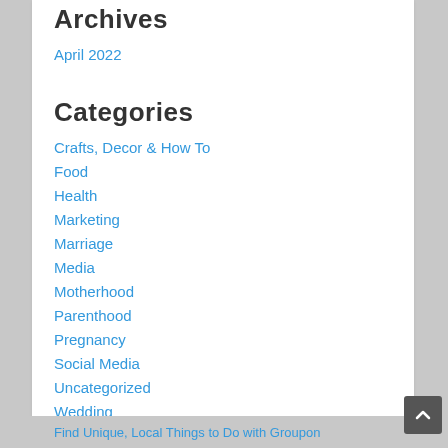Archives
April 2022
Categories
Crafts, Decor & How To
Food
Health
Marketing
Marriage
Media
Motherhood
Parenthood
Pregnancy
Social Media
Uncategorized
Wedding
Find Unique, Local Things to Do with Groupon